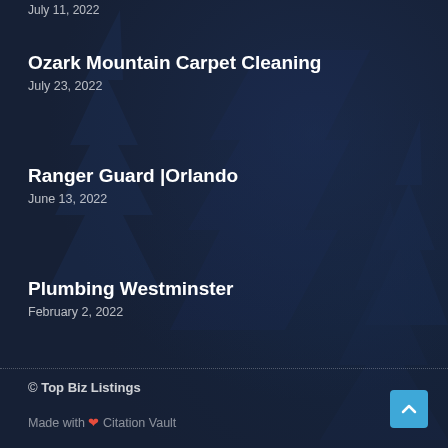July 11, 2022
Ozark Mountain Carpet Cleaning
July 23, 2022
Ranger Guard |Orlando
June 13, 2022
Plumbing Westminster
February 2, 2022
© Top Biz Listings
Made with ❤ Citation Vault